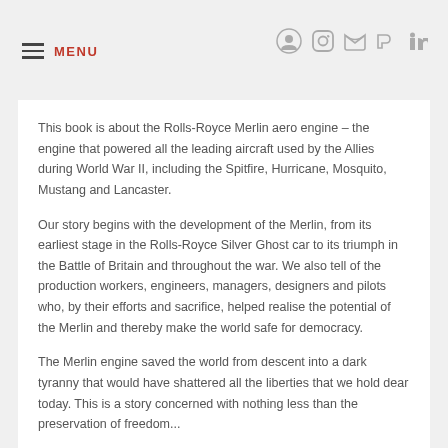MENU
This book is about the Rolls-Royce Merlin aero engine – the engine that powered all the leading aircraft used by the Allies during World War II, including the Spitfire, Hurricane, Mosquito, Mustang and Lancaster.
Our story begins with the development of the Merlin, from its earliest stage in the Rolls-Royce Silver Ghost car to its triumph in the Battle of Britain and throughout the war. We also tell of the production workers, engineers, managers, designers and pilots who, by their efforts and sacrifice, helped realise the potential of the Merlin and thereby make the world safe for democracy.
The Merlin engine saved the world from descent into a dark tyranny that would have shattered all the liberties that we hold dear today. This is a story concerned with nothing less than the preservation of freedom...